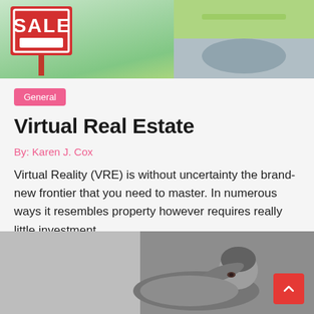[Figure (photo): Hero image showing a red and white FOR SALE sign outdoors with a driveway and green yard in the background]
General
Virtual Real Estate
By: Karen J. Cox
Virtual Reality (VRE) is without uncertainty the brand-new frontier that you need to master. In numerous ways it resembles property however requires really little investment ....
[Figure (photo): Second card hero image showing a person lying down looking distressed, in black and white/desaturated tones]